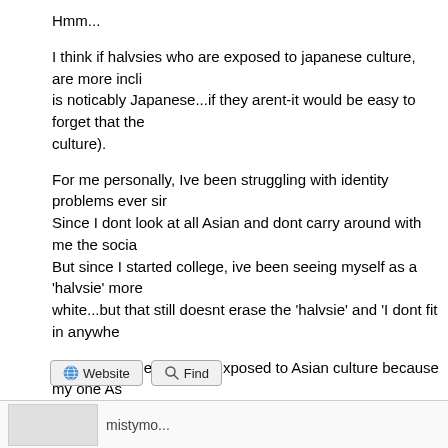Hmm...
I think if halvsies who are exposed to japanese culture, are more inclined to identify with the part that is noticably Japanese...if they arent-it would be easy to forget that they have that part of themselves (the culture).
For me personally, Ive been struggling with identity problems ever since I can remember. Since I dont look at all Asian and dont carry around with me the social cues of being Asian. But since I started college, ive been seeing myself as a 'halvsie' more...I used to just see myself as white...but that still doesnt erase the 'halvsie' and 'I dont fit in anywhere' feeling.
Since, I had never been exposed to Asian culture because my one Asian grandparent (which makes me an imposter to this forum in more ways than one...lol), died when I was old enough to know him. I am a halvsie more or less who was raised like any assimilated American.
I think of I got to know my grandfather and his culture better, I wouldn't be somewhat ashamed of myself for being a quarter asian. I guess lots of ethnically mixed people...hope someday I can feel as proud of being Asian as much as I am of being...
[Figure (screenshot): Website and Find buttons at bottom of forum post]
mistymo...